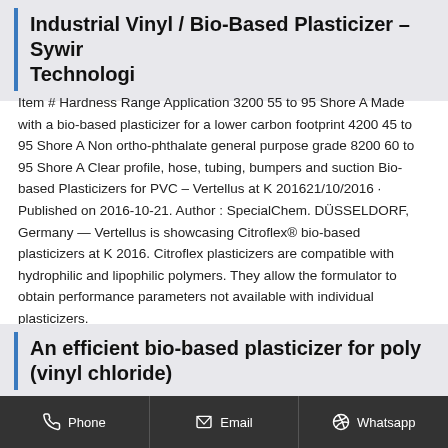Industrial Vinyl / Bio-Based Plasticizer – Sywir Technologi
Item # Hardness Range Application 3200 55 to 95 Shore A Made with a bio-based plasticizer for a lower carbon footprint 4200 45 to 95 Shore A Non ortho-phthalate general purpose grade 8200 60 to 95 Shore A Clear profile, hose, tubing, bumpers and suction Bio-based Plasticizers for PVC – Vertellus at K 201621/10/2016 · Published on 2016-10-21. Author : SpecialChem. DÜSSELDORF, Germany — Vertellus is showcasing Citroflex® bio-based plasticizers at K 2016. Citroflex plasticizers are compatible with hydrophilic and lipophilic polymers. They allow the formulator to obtain performance parameters not available with individual plasticizers.
An efficient bio-based plasticizer for poly (vinyl chloride)
Phone  Email  Whatsapp